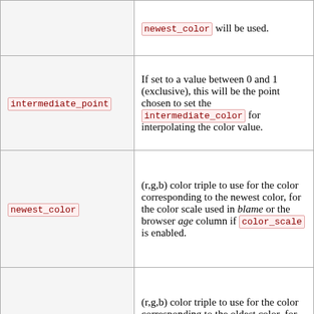| Parameter | Description |
| --- | --- |
| newest_color | newest_color will be used. |
| intermediate_point | If set to a value between 0 and 1 (exclusive), this will be the point chosen to set the intermediate_color for interpolating the color value. |
| newest_color | (r,g,b) color triple to use for the color corresponding to the newest color, for the color scale used in blame or the browser age column if color_scale is enabled. |
| oldest_color | (r,g,b) color triple to use for the color corresponding to the oldest color, for the color scale used in blame or the browser age column if color_scale is enabled. |
|  | Comma-separated list of |